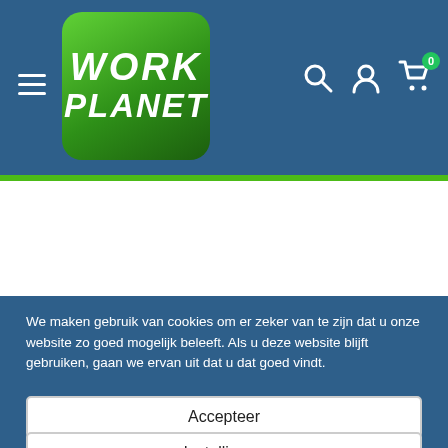[Figure (logo): WorkPlanet logo — green rounded square with WORK PLANET text in white italic bold font]
We maken gebruik van cookies om er zeker van te zijn dat u onze website zo goed mogelijk beleeft. Als u deze website blijft gebruiken, gaan we ervan uit dat u dat goed vindt.
Accepteer
Instellingen